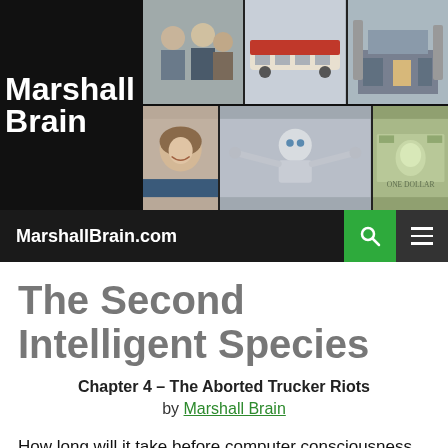Marshall Brain — MarshallBrain.com
The Second Intelligent Species
Chapter 4 – The Aborted Trucker Riots
by Marshall Brain
How long will it take before computer consciousness arises and begins the process of making human beings completely irrelevant? We don't know. It will likely take a couple of decades, for example a 2040 timeframe. But 30 to 40 years is